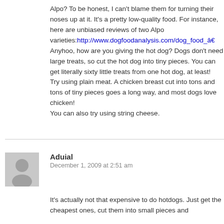Alpo? To be honest, I can't blame them for turning their noses up at it. It's a pretty low-quality food. For instance, here are unbiased reviews of two Alpo varieties: http://www.dogfoodanalysis.com/dog_food_â€¦ Anyhoo, how are you giving the hot dog? Dogs don't need large treats, so cut the hot dog into tiny pieces. You can get literally sixty little treats from one hot dog, at least!
Try using plain meat. A chicken breast cut into tons and tons of tiny pieces goes a long way, and most dogs love chicken!
You can also try using string cheese.
Aduial
December 1, 2009 at 2:51 am
It's actually not that expensive to do hotdogs. Just get the cheapest ones, cut them into small pieces and